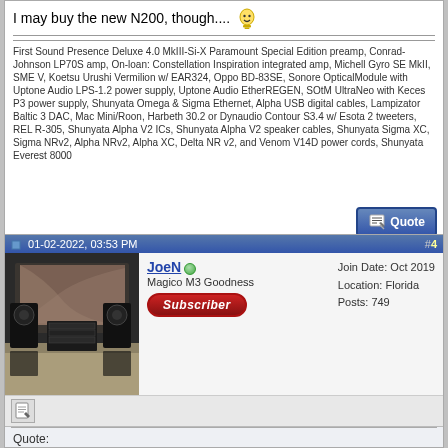I may buy the new N200, though....
First Sound Presence Deluxe 4.0 MkIII-Si-X Paramount Special Edition preamp, Conrad-Johnson LP70S amp, On-loan: Constellation Inspiration integrated amp, Michell Gyro SE MkII, SME V, Koetsu Urushi Vermilion w/ EAR324, Oppo BD-83SE, Sonore OpticalModule with Uptone Audio LPS-1.2 power supply, Uptone Audio EtherREGEN, SOtM UltraNeo with Keces P3 power supply, Shunyata Omega & Sigma Ethernet, Alpha USB digital cables, Lampizator Baltic 3 DAC, Mac Mini/Roon, Harbeth 30.2 or Dynaudio Contour S3.4 w/ Esota 2 tweeters, REL R-305, Shunyata Alpha V2 ICs, Shunyata Alpha V2 speaker cables, Shunyata Sigma XC, Sigma NRv2, Alpha NRv2, Alpha XC, Delta NR v2, and Venom V14D power cords, Shunyata Everest 8000
01-02-2022, 03:53 PM
#4
[Figure (photo): User avatar photo showing a hi-fi audio listening room with speakers, equipment rack]
JoeN
Magico M3 Goodness
Subscriber
Join Date: Oct 2019
Location: Florida
Posts: 749
Quote:
Originally Posted by Puma Cat
I agree, Joe. I am super, super impressed. As I'm much more of the type of guy who listens to an entire album thank flipping around from one track to the next on